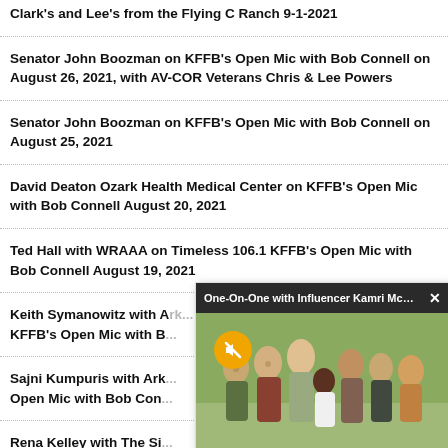Clark's and Lee's from the Flying C Ranch 9-1-2021
Senator John Boozman on KFFB's Open Mic with Bob Connell on August 26, 2021, with AV-COR Veterans Chris & Lee Powers
Senator John Boozman on KFFB's Open Mic with Bob Connell on August 25, 2021
David Deaton Ozark Health Medical Center on KFFB's Open Mic with Bob Connell August 20, 2021
Ted Hall with WRAAA on Timeless 106.1 KFFB's Open Mic with Bob Connell August 19, 2021
Keith Symanowitz with ... KFFB's Open Mic with B...
Sajni Kumpuris with Ark... Open Mic with Bob Con...
Rena Kelley with The Si... Timeless 106 1 KFFB's O...
[Figure (screenshot): Video popup overlay showing 'One-On-One with Influencer Kamri McK...' with a mute button icon and a group photo of people outdoors]